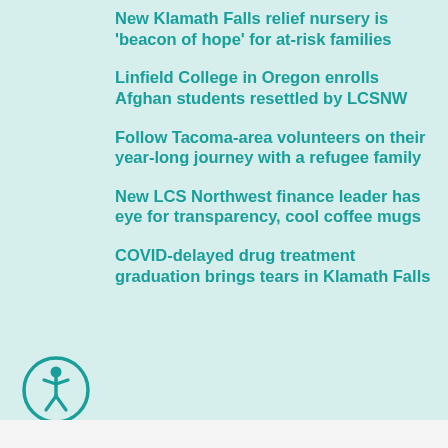New Klamath Falls relief nursery is 'beacon of hope' for at-risk families
Linfield College in Oregon enrolls Afghan students resettled by LCSNW
Follow Tacoma-area volunteers on their year-long journey with a refugee family
New LCS Northwest finance leader has eye for transparency, cool coffee mugs
COVID-delayed drug treatment graduation brings tears in Klamath Falls
[Figure (illustration): Accessibility/wheelchair icon in a teal circle]